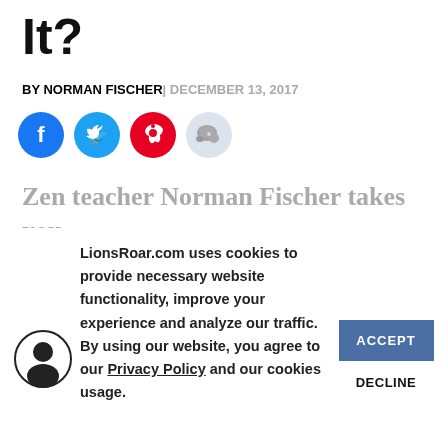It?
BY NORMAN FISCHER| DECEMBER 13, 2017
[Figure (infographic): Social share buttons: Facebook (blue circle), Twitter (blue circle), Pinterest (red circle), Reddit (light grey circle)]
Zen teacher Norman Fischer takes you
LionsRoar.com uses cookies to provide necessary website functionality, improve your experience and analyze our traffic. By using our website, you agree to our Privacy Policy and our cookies usage.
ACCEPT
DECLINE